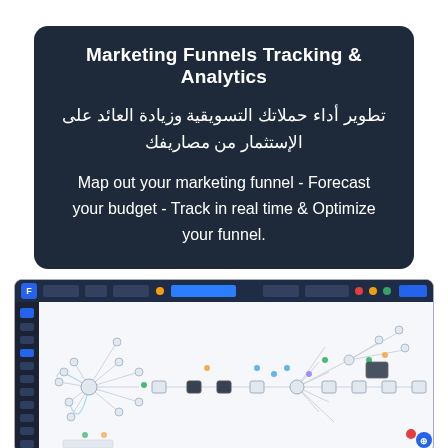Marketing Funnels Tracking & Analytics
تطوير أداء حملاتك التسويقية وزيادة العائد على الإستثمار من مصاريفك
Map out your marketing funnel - Forecast your budget - Track in real time & Optimize your funnel.
[Figure (screenshot): Screenshot of a marketing funnel tracking web application showing a node-graph/flowchart canvas with interconnected nodes and connectors on a light background, with a dark sidebar on the left and a dark top navigation bar.]